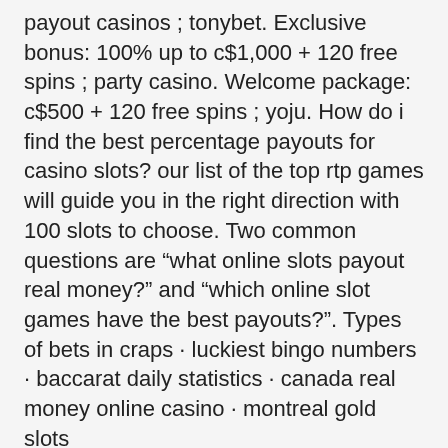payout casinos ; tonybet. Exclusive bonus: 100% up to c$1,000 + 120 free spins ; party casino. Welcome package: c$500 + 120 free spins ; yoju. How do i find the best percentage payouts for casino slots? our list of the top rtp games will guide you in the right direction with 100 slots to choose. Two common questions are “what online slots payout real money?” and “which online slot games have the best payouts?”. Types of bets in craps · luckiest bingo numbers · baccarat daily statistics · canada real money online casino · montreal gold slots
These bonuses usually take the form of free credit, which can be used to bet on various games, or the form of several prepaid spins on certain slots., online slots best payout. We have a bitstarz welcome bonus for you: 150% up to 1 btc + 180 free spins, coin bitcoin slot chronicles. Com promo codes january 2021 voucher (6 days. Bitstarz casino bonus codes deposit bonus